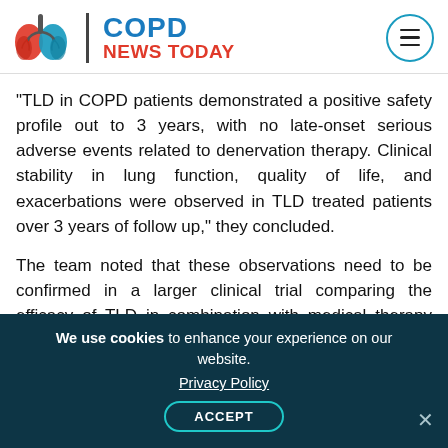[Figure (logo): COPD News Today logo with lung illustration in red and blue, vertical divider, brand name 'COPD NEWS TODAY' and hamburger menu button in teal circle]
“TLD in COPD patients demonstrated a positive safety profile out to 3 years, with no late-onset serious adverse events related to denervation therapy. Clinical stability in lung function, quality of life, and exacerbations were observed in TLD treated patients over 3 years of follow up,” they concluded.
The team noted that these observations need to be confirmed in a larger clinical trial comparing the efficacy of TLD in combination with medical therapy against medical therapy alone. In fact,
We use cookies to enhance your experience on our website.
Privacy Policy
ACCEPT